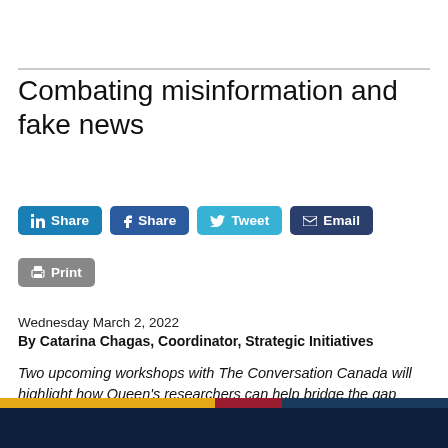Combating misinformation and fake news
Wednesday March 2, 2022
By Catarina Chagas, Coordinator, Strategic Initiatives
Two upcoming workshops with The Conversation Canada will highlight how Queen's researchers can help bridge the gap between academia and the public
[Figure (illustration): Bottom banner with gold, red, and navy blue color strips forming a university branding footer]